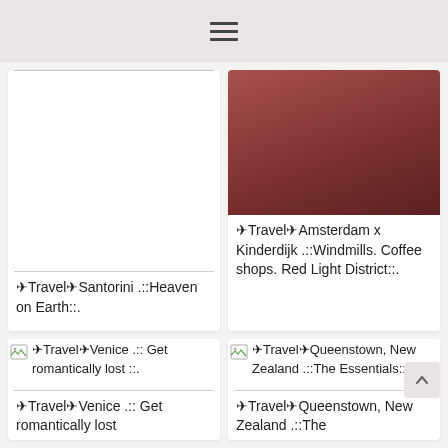[Figure (screenshot): Travel blog grid layout with four article cards showing travel destinations]
✈Travel✈Santorini .::Heaven on Earth::.
[Figure (photo): Amsterdam travel article image with dark reddish-brown gradient placeholder]
✈Travel✈Amsterdam x Kinderdijk .::Windmills. Coffee shops. Red Light District::.
✈Travel✈Venice .:: Get romantically lost ::.
✈Travel✈Queenstown, New Zealand .::The Essentials::.
✈Travel✈Venice .:: Get romantically lost
✈Travel✈Queenstown, New Zealand .::The